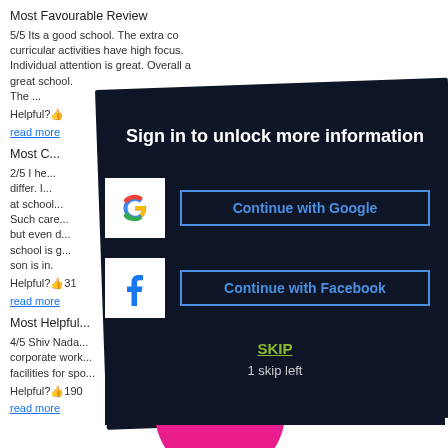Most Favourable Review
5/5 Its a good school. The extra co curricular activities have high focus. Individual attention is great. Overall a great school. The ...
Helpful?👍...
read more
Most C...
2/5 I he... differ. I... at school... Such care... but even d... school is g... son is in.
Helpful?👍31
read more
Most Helpful...
4/5 Shiv Nada... corporate work... facilities for spo...
Helpful?👍190
read more
Sign in to unlock more information
Continue with Google
Continue with Facebook
SKIP
1 skip left